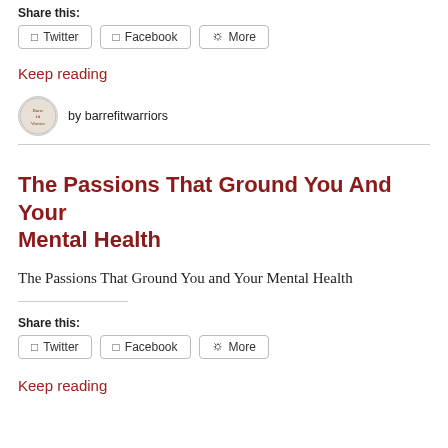Share this:
Twitter  Facebook  More
Keep reading
by barrefitwarriors
The Passions That Ground You And Your Mental Health
The Passions That Ground You and Your Mental Health
Share this:
Twitter  Facebook  More
Keep reading